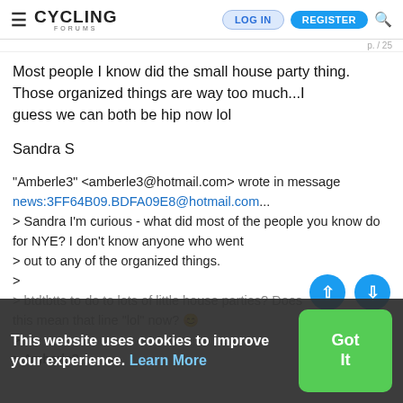CYCLING FORUMS — LOG IN | REGISTER
Most people I know did the small house party thing. Those organized things are way too much...I
guess we can both be hip now lol
Sandra S
"Amberle3" <amberle3@hotmail.com> wrote in message news:3FF64B09.BDFA09E8@hotmail.com...
> Sandra I'm curious - what did most of the people you know do for NYE? I don't know anyone who went
> out to any of the organized things.
>
> btdtbtts to do to lots of little house parties? Does this mean that line "lol" now?
>
This website uses cookies to improve your experience. Learn More
> Amberle3